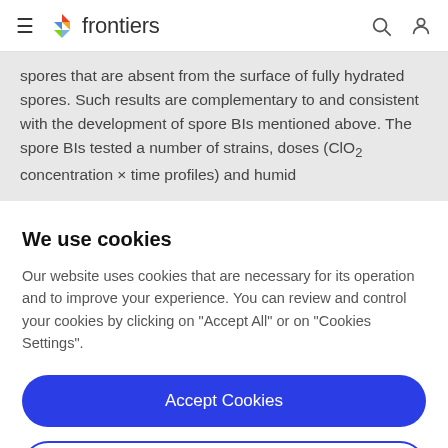frontiers
spores that are absent from the surface of fully hydrated spores. Such results are complementary to and consistent with the development of spore BIs mentioned above. The spore BIs tested a number of strains, doses (ClO₂ concentration × time profiles) and humid
We use cookies
Our website uses cookies that are necessary for its operation and to improve your experience. You can review and control your cookies by clicking on "Accept All" or on "Cookies Settings".
Accept Cookies
Cookies Settings